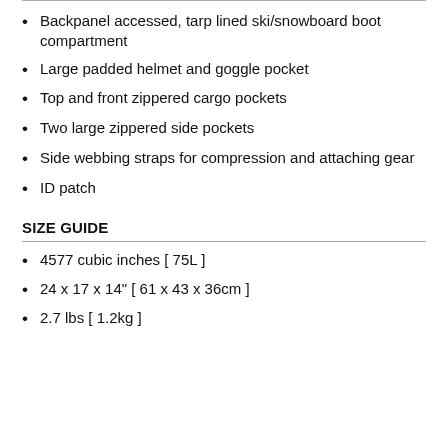Backpanel accessed, tarp lined ski/snowboard boot compartment
Large padded helmet and goggle pocket
Top and front zippered cargo pockets
Two large zippered side pockets
Side webbing straps for compression and attaching gear
ID patch
SIZE GUIDE
4577 cubic inches [ 75L ]
24 x 17 x 14" [ 61 x 43 x 36cm ]
2.7 lbs [ 1.2kg ]